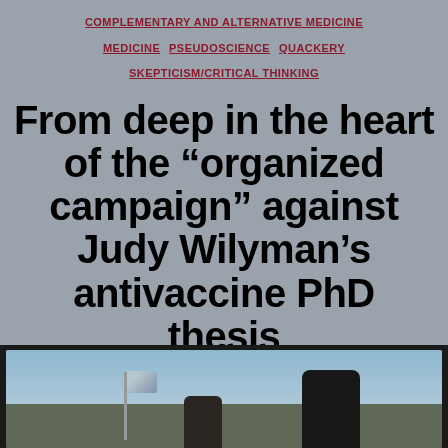COMPLEMENTARY AND ALTERNATIVE MEDICINE · MEDICINE · PSEUDOSCIENCE · QUACKERY · SKEPTICISM/CRITICAL THINKING
From deep in the heart of the “organized campaign” against Judy Wilyman’s antivaccine PhD thesis
By Orac · February 1, 2016 · 71 Comments
[Figure (photo): Outdoor scene showing people with a flag against a cloudy sky background]